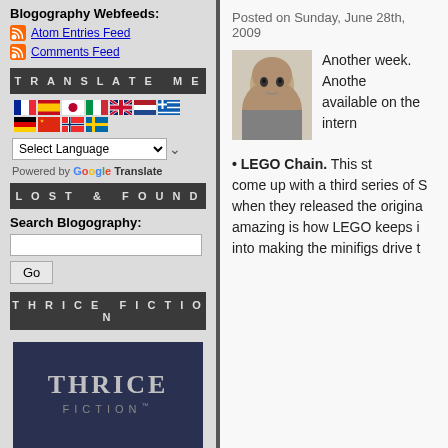Blogography Webfeeds:
Atom Entries Feed
Comments Feed
TRANSLATE ME
Select Language (dropdown) — Powered by Google Translate
LOST & FOUND
Search Blogography:
THRICE FICTION
[Figure (illustration): Thrice Fiction magazine cover with dark blue/navy background, large text THRICE FICTION]
Posted on Sunday, June 28th, 2009
Another week. Anothe available on the intern
LEGO Chain. This st come up with a third series of S when they released the origina amazing is how LEGO keeps i into making the minifigs drive t